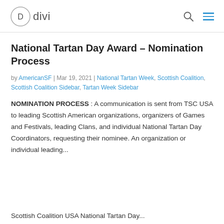D divi
National Tartan Day Award – Nomination Process
by AmericanSF | Mar 19, 2021 | National Tartan Week, Scottish Coalition, Scottish Coalition Sidebar, Tartan Week Sidebar
NOMINATION PROCESS :  A communication is sent from TSC USA to leading Scottish American organizations, organizers of Games and Festivals, leading Clans, and individual National Tartan Day Coordinators, requesting their nominee.  An organization or individual leading...
Scottish Coalition USA National Tartan Day...